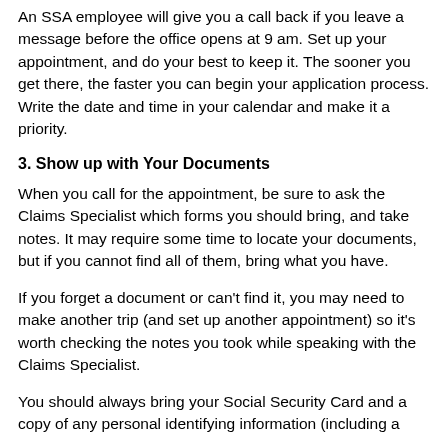An SSA employee will give you a call back if you leave a message before the office opens at 9 am. Set up your appointment, and do your best to keep it. The sooner you get there, the faster you can begin your application process. Write the date and time in your calendar and make it a priority.
3. Show up with Your Documents
When you call for the appointment, be sure to ask the Claims Specialist which forms you should bring, and take notes. It may require some time to locate your documents, but if you cannot find all of them, bring what you have.
If you forget a document or can't find it, you may need to make another trip (and set up another appointment) so it's worth checking the notes you took while speaking with the Claims Specialist.
You should always bring your Social Security Card and a copy of any personal identifying information (including a